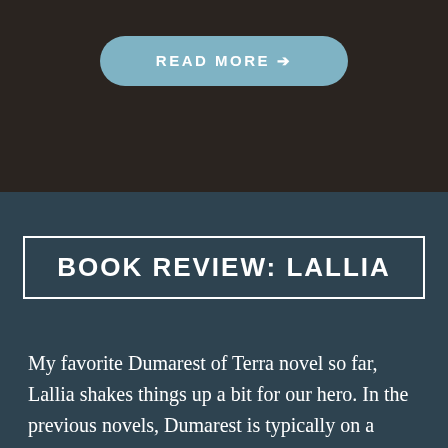[Figure (other): READ MORE button with right arrow, rounded pill shape, light blue background on dark brown section]
BOOK REVIEW: LALLIA
My favorite Dumarest of Terra novel so far, Lallia shakes things up a bit for our hero.  In the previous novels, Dumarest is typically on a